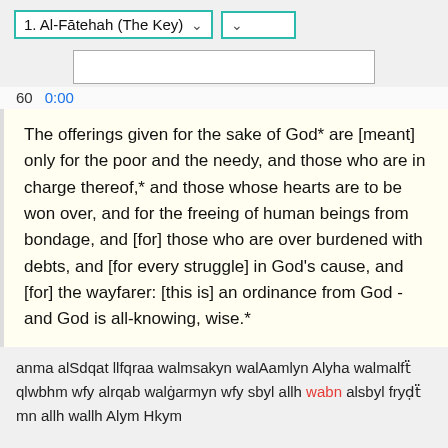1. Al-Fātehah (The Key)
The offerings given for the sake of God* are [meant] only for the poor and the needy, and those who are in charge thereof,* and those whose hearts are to be won over, and for the freeing of human beings from bondage, and [for] those who are over burdened with debts, and [for every struggle] in God's cause, and [for] the wayfarer: [this is] an ordinance from God - and God is all-knowing, wise.*
anma alSdqat llfqraa walmsakyn walAamlyn Alyha walmalfẗ qlwbhm wfy alrqab walġarmyn wfy sbyl allh wabn alsbyl fryḍẗ mn allh wallh Alym Hkym
إنما الصدقات للفقراء والمساكين